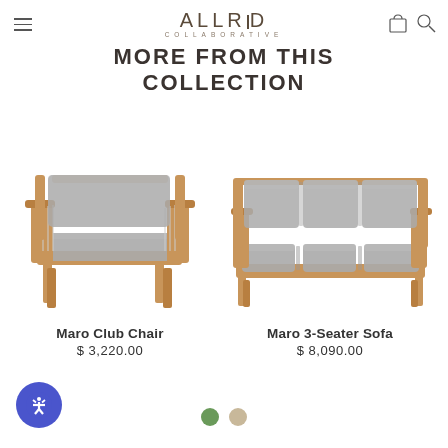ALLRED COLLABORATIVE
MORE FROM THIS COLLECTION
[Figure (photo): Maro Club Chair — wooden armchair with grey cushions and rope/spindle side details, teak frame]
Maro Club Chair
$ 3,220.00
[Figure (photo): Maro 3-Seater Sofa — three-seat outdoor sofa with grey cushions and teak wood frame]
Maro 3-Seater Sofa
$ 8,090.00